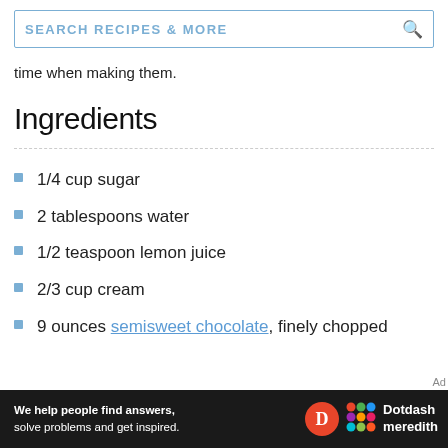SEARCH RECIPES & MORE
time when making them.
Ingredients
1/4 cup sugar
2 tablespoons water
1/2 teaspoon lemon juice
2/3 cup cream
9 ounces semisweet chocolate, finely chopped
We help people find answers, solve problems and get inspired. Dotdash meredith